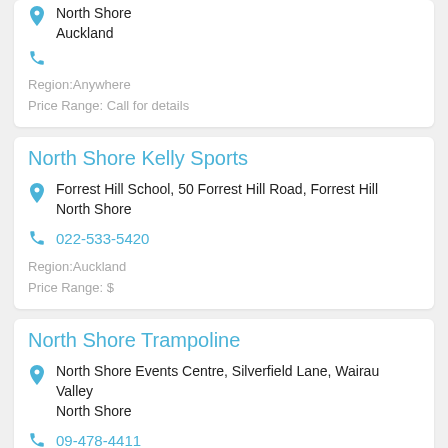North Shore
Auckland
Region:Anywhere
Price Range: Call for details
North Shore Kelly Sports
Forrest Hill School, 50 Forrest Hill Road, Forrest Hill
North Shore
022-533-5420
Region:Auckland
Price Range: $
North Shore Trampoline
North Shore Events Centre, Silverfield Lane, Wairau Valley
North Shore
09-478-4411
Region:Auckland